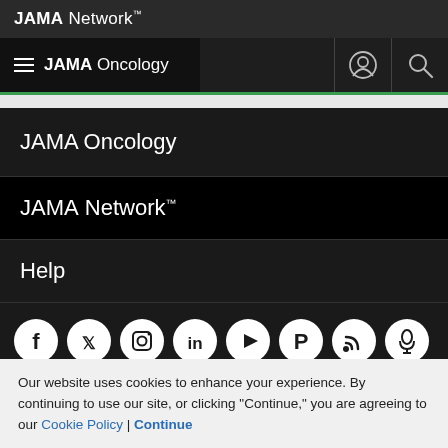JAMA Network™
JAMA Oncology
JAMA Oncology
JAMA Network™
Help
[Figure (infographic): Row of 8 social media icons: Facebook, Twitter, Instagram, LinkedIn, YouTube, Pinterest, RSS, Podcast]
Our website uses cookies to enhance your experience. By continuing to use our site, or clicking "Continue," you are agreeing to our Cookie Policy | Continue